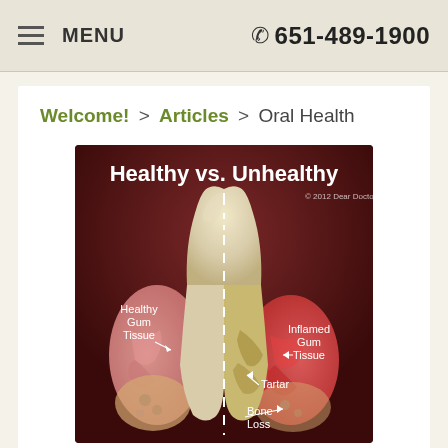MENU | 651-489-1900
Welcome! > Articles > Oral Health
[Figure (illustration): Medical dental illustration titled 'Healthy vs. Unhealthy' showing a cross-section of a tooth divided by a dashed vertical line. Left side shows Healthy Gum Tissue; right side shows Inflamed Gum Tissue, Tartar, and Bone Loss. Copyright 2012 Dear Doctor, Inc.]